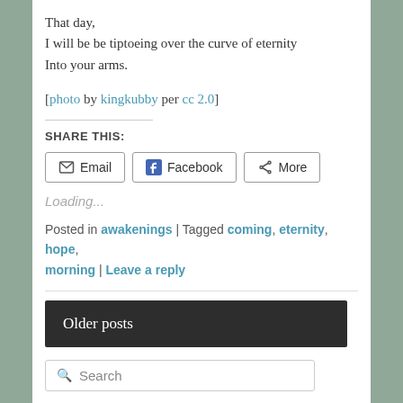That day,
I will be be tiptoeing over the curve of eternity
Into your arms.
[photo by kingkubby per cc 2.0]
SHARE THIS:
Loading...
Posted in awakenings | Tagged coming, eternity, hope, morning | Leave a reply
Older posts
Search